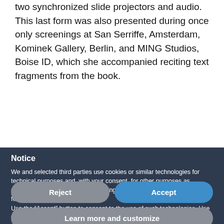two synchronized slide projectors and audio. This last form was also presented during once only screenings at San Serriffe, Amsterdam, Kominek Gallery, Berlin, and MING Studios, Boise ID, which she accompanied reciting text fragments from the book.
Notice
We and selected third parties use cookies or similar technologies for technical purposes and, with your consent, for other purposes as specified in the cookie policy. Denying consent may make related features unavailable. Use the "Accept" button to consent to the use of such technologies. Use the "Reject" button to continue without accepting.
Reject
Accept
Learn more and customize